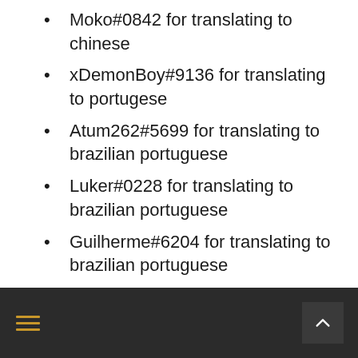Moko#0842 for translating to chinese
xDemonBoy#9136 for translating to portugese
Atum262#5699 for translating to brazilian portuguese
Luker#0228 for translating to brazilian portuguese
Guilherme#6204 for translating to brazilian portuguese
sallomma for translating to brazilian portuguese
Navigation footer with hamburger menu and back-to-top button